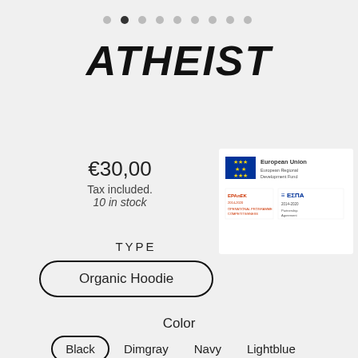[Figure (other): Pagination dots row, 8 dots total with second dot active/filled]
ATHEIST
[Figure (logo): European Union European Regional Development Fund badge with EPAnEK and ESPA logos]
€30,00
Tax included.
10 in stock
TYPE
Organic Hoodie
Color
Black   Dimgray   Navy   Lightblue
MENU